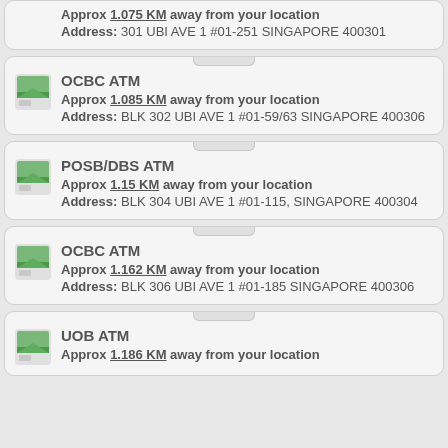Approx 1.075 KM away from your location
Address: 301 UBI AVE 1 #01-251 SINGAPORE 400301
OCBC ATM
Approx 1.085 KM away from your location
Address: BLK 302 UBI AVE 1 #01-59/63 SINGAPORE 400306
POSB/DBS ATM
Approx 1.15 KM away from your location
Address: BLK 304 UBI AVE 1 #01-115, SINGAPORE 400304
OCBC ATM
Approx 1.162 KM away from your location
Address: BLK 306 UBI AVE 1 #01-185 SINGAPORE 400306
UOB ATM
Approx 1.186 KM away from your location